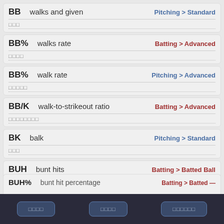BB — walks and given — Pitching > Standard
BB% — walks rate — Batting > Advanced
BB% — walk rate — Pitching > Advanced
BB/K — walk-to-strikeout ratio — Batting > Advanced
BK — balk — Pitching > Standard
BUH — bunt hits — Batting > Batted Ball
BUH% — bunt hit percentage — Batting > Batted —
Navigation bar with buttons